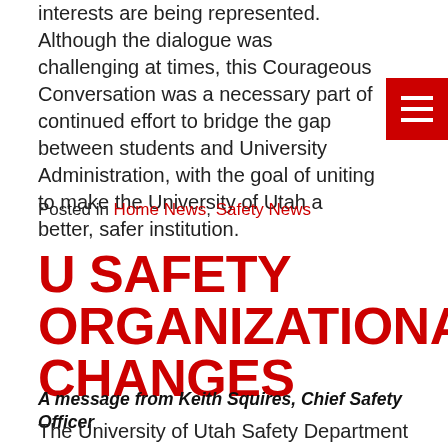interests are being represented. Although the dialogue was challenging at times, this Courageous Conversation was a necessary part of continued efforts to bridge the gap between students and University Administration, with the goal of uniting to make the University of Utah a better, safer institution.
Posted in Home News, Safety News
U SAFETY ORGANIZATIONAL CHANGES
A message from Keith Squires, Chief Safety Officer
The University of Utah Safety Department (U Safety) is committed to creating a safe and empowered campus community. Achieving that mission requires a campus-wide commitment and organizational structure to effectively